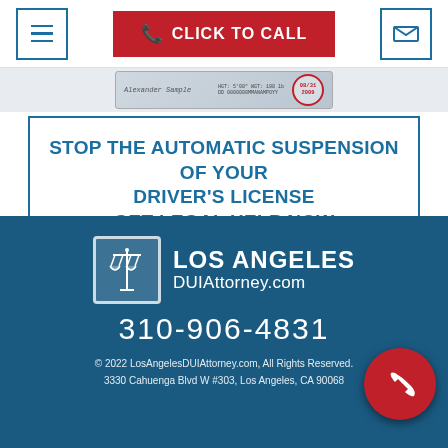[Figure (screenshot): Navigation bar with hamburger menu button, red CLICK TO CALL button with phone icon, and email envelope icon button]
[Figure (photo): Partial view of a driver's license showing a name signature, ID number, and expiration date circle]
STOP THE AUTOMATIC SUSPENSION OF YOUR DRIVER'S LICENSE GET LEGAL HELP NOW
[Figure (logo): Los Angeles DUIAttorney.com logo with scales of justice icon]
310-906-4831
© 2022 LosAngelesDUIAttorney.com, All Rights Reserved. 3330 Cahuenga Blvd W #303, Los Angeles, CA 90068